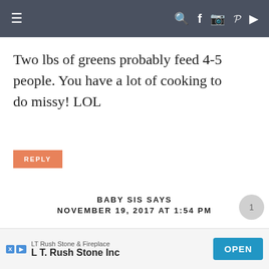≡  🔍 f 📷 𝕡 ▶
Two lbs of greens probably feed 4-5 people. You have a lot of cooking to do missy! LOL
REPLY
BABY SIS SAYS
NOVEMBER 19, 2017 AT 1:54 PM
Hi Rosie, is it possible for you to give the measurements of the
[Figure (other): Advertisement banner: LT Rush Stone & Fireplace / L T. Rush Stone Inc with OPEN button]